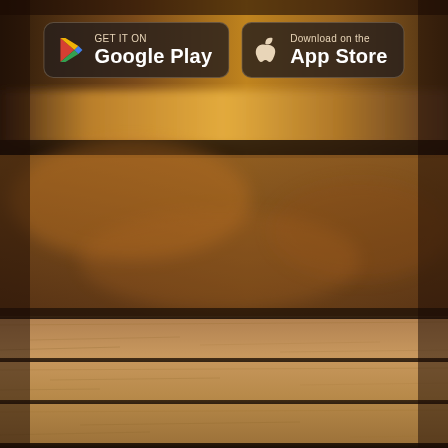[Figure (photo): Blurred bokeh background of a warm-toned café or restaurant interior with golden/amber tones, with a wooden plank table surface in the foreground lower third.]
[Figure (logo): Google Play store badge: dark rounded rectangle with Google Play triangle logo and text 'GET IT ON Google Play']
[Figure (logo): Apple App Store badge: dark rounded rectangle with Apple logo and text 'Download on the App Store']